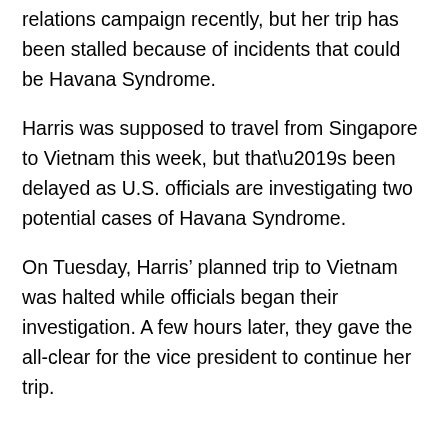relations campaign recently, but her trip has been stalled because of incidents that could be Havana Syndrome.
Harris was supposed to travel from Singapore to Vietnam this week, but that’s been delayed as U.S. officials are investigating two potential cases of Havana Syndrome.
On Tuesday, Harris’ planned trip to Vietnam was halted while officials began their investigation. A few hours later, they gave the all-clear for the vice president to continue her trip.